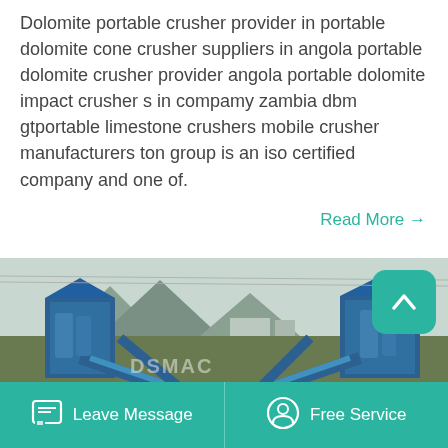Dolomite portable crusher provider in portable dolomite cone crusher suppliers in angola portable dolomite crusher provider angola portable dolomite impact crusher s in compamy zambia dbm gtportable limestone crushers mobile crusher manufacturers ton group is an iso certified company and one of.
Read More →
[Figure (photo): Aerial view of a blue industrial crushing/mining plant with conveyor belts, silos, and machinery. Mountains visible in the background. DSMAC watermark visible on the image.]
Leave Message   Free Service